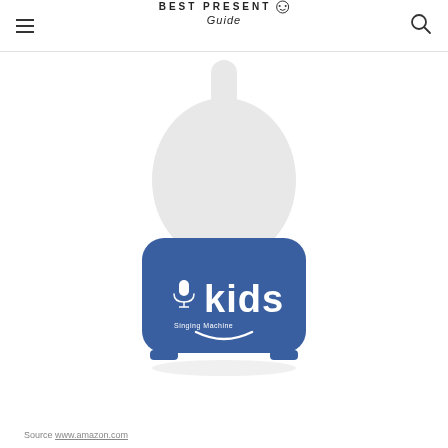BEST PRESENT Guide
[Figure (photo): A blue and white Singing Machine Kids microphone/speaker product. The device has a white upper portion with a slim neck and a wide blue base with the 'kids' logo and a microphone icon in white text on the front. The base has small feet at the bottom.]
Source www.amazon.com